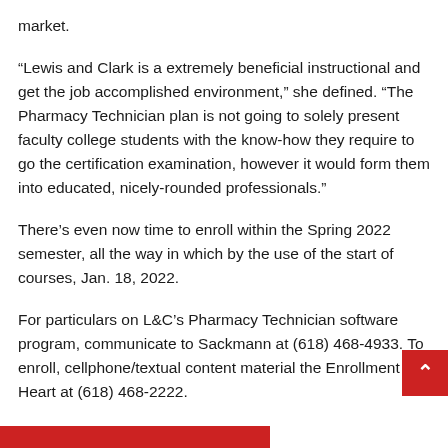market.
“Lewis and Clark is a extremely beneficial instructional and get the job accomplished environment,” she defined. “The Pharmacy Technician plan is not going to solely present faculty college students with the know-how they require to go the certification examination, however it would form them into educated, nicely-rounded professionals.”
There’s even now time to enroll within the Spring 2022 semester, all the way in which by the use of the start of courses, Jan. 18, 2022.
For particulars on L&C’s Pharmacy Technician software program, communicate to Sackmann at (618) 468-4933. To enroll, cellphone/textual content material the Enrollment Heart at (618) 468-2222.